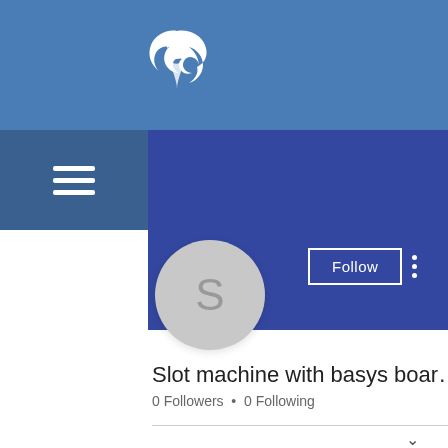[Figure (screenshot): Mobile app profile page screenshot showing a blue header with eagle/phoenix logo, hamburger menu, profile banner with Follow button, avatar circle with letter S, username 'Slot machine with basys boar...', follower counts, and Profile section with floating action button]
Slot machine with basys boar…
0 Followers • 0 Following
Profile